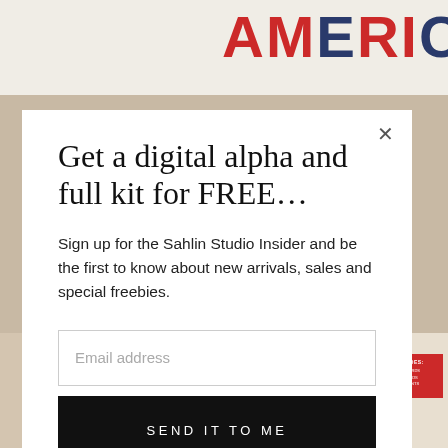[Figure (screenshot): Website modal popup overlay on a scrapbooking/digital art shop (Sahlin Studio). Background shows an 'AMERICA' themed decorative image. The modal has a close button (×), a title, body text, an email input field, and a submit button.]
Get a digital alpha and full kit for FREE…
Sign up for the Sahlin Studio Insider and be the first to know about new arrivals, sales and special freebies.
Email address
SEND IT TO ME